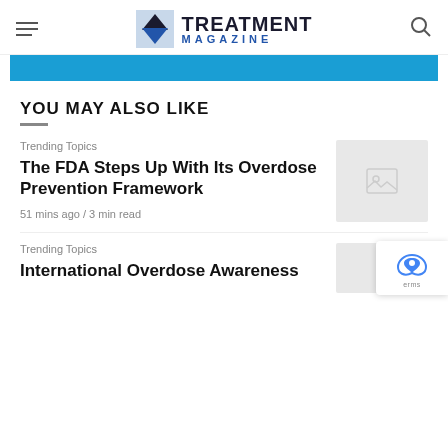TREATMENT MAGAZINE
[Figure (other): Blue banner/advertisement strip]
YOU MAY ALSO LIKE
Trending Topics
The FDA Steps Up With Its Overdose Prevention Framework
51 mins ago / 3 min read
Trending Topics
International Overdose Awareness